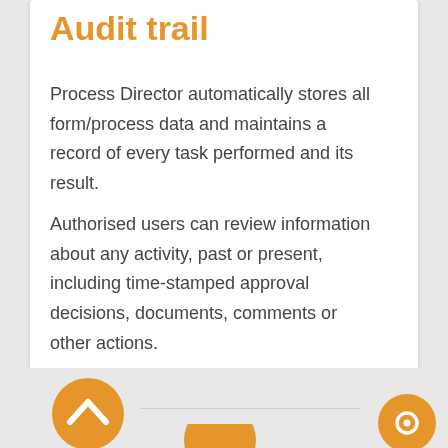Audit trail
Process Director automatically stores all form/process data and maintains a record of every task performed and its result.
Authorised users can review information about any activity, past or present, including time-stamped approval decisions, documents, comments or other actions.